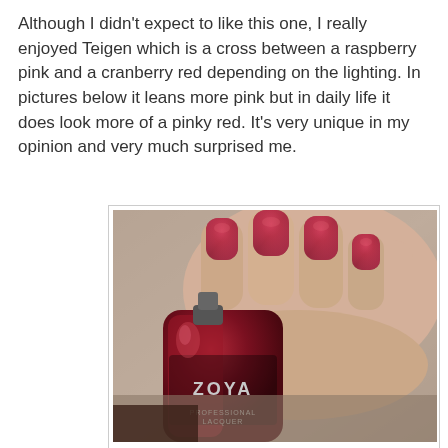Although I didn't expect to like this one, I really enjoyed Teigen which is a cross between a raspberry pink and a cranberry red depending on the lighting.  In pictures below it leans more pink but in daily life it does look more of a pinky red.  It's very unique in my opinion and very much surprised me.
[Figure (photo): Close-up photo of a hand with nails painted in Zoya nail polish color 'Teigen', a raspberry pink/cranberry red metallic shimmer. A Zoya nail polish bottle is held in front of the hand, showing the ZOYA brand name and 'PROFESSIONAL LACQUER' text on the label.]